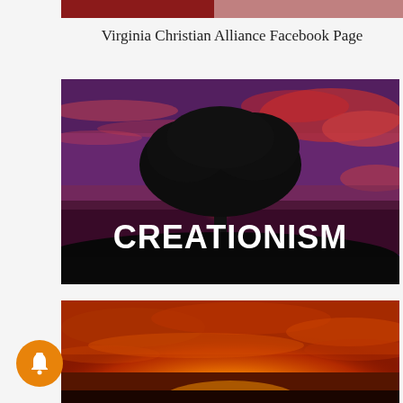Virginia Christian Alliance Facebook Page
[Figure (photo): Silhouette of a large tree at sunset/dusk with dramatic purple and red sky, with the text 'CREATIONISM' in bold white letters overlaid at the bottom]
[Figure (photo): Orange and red sunset sky with dramatic clouds, partially visible at bottom of page]